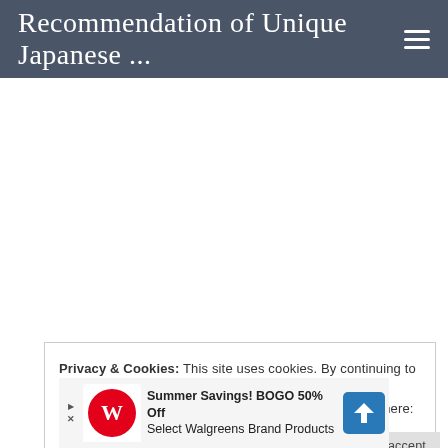Recommendation of Unique Japanese ...
Privacy & Cookies: This site uses cookies. By continuing to use this website, you agree to their use.
To find out more, including how to control cookies, see here: Cookie Policy
[Figure (infographic): Walgreens advertisement banner: Summer Savings! BOGO 50% Off Select Walgreens Brand Products, with Walgreens logo and direction arrow icon]